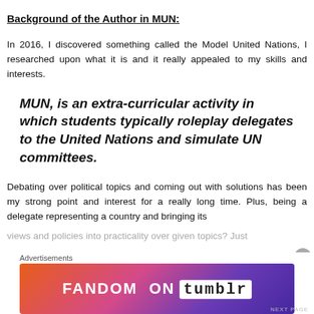Background of the Author in MUN:
In 2016, I discovered something called the Model United Nations, I researched upon what it is and it really appealed to my skills and interests.
MUN, is an extra-curricular activity in which students typically roleplay delegates to the United Nations and simulate UN committees.
Debating over political topics and coming out with solutions has been my strong point and interest for a really long time. Plus, being a delegate representing a country and bringing its views and policies into practicality over given topics? Just
[Figure (other): Fandom on Tumblr advertisement banner with colorful gradient background (orange to purple) and white bold text reading FANDOM ON tumblr]
Advertisements